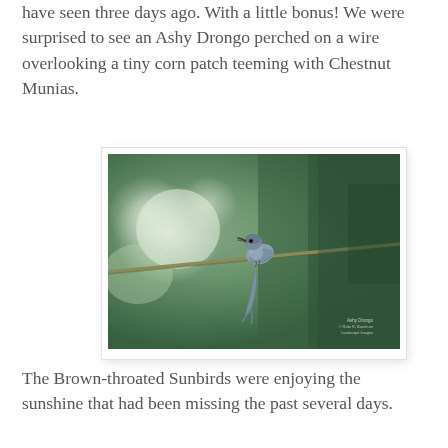have seen three days ago. With a little bonus! We were surprised to see an Ashy Drongo perched on a wire overlooking a tiny corn patch teeming with Chestnut Munias.
[Figure (photo): A bird (Ashy Drongo) perched on a wire against a blurred green bokeh background. The bird is grey-blue with a long tail, facing left. Small watermark text visible in lower right corner.]
The Brown-throated Sunbirds were enjoying the sunshine that had been missing the past several days.